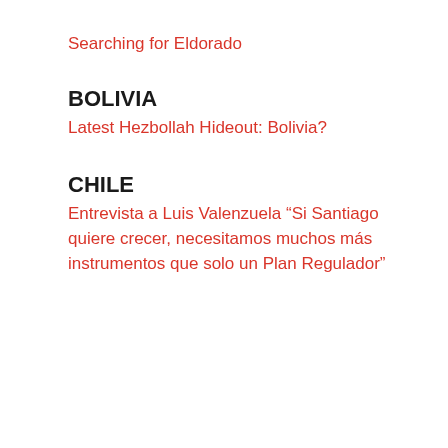Searching for Eldorado
BOLIVIA
Latest Hezbollah Hideout: Bolivia?
CHILE
Entrevista a Luis Valenzuela “Si Santiago quiere crecer, necesitamos muchos más instrumentos que solo un Plan Regulador”